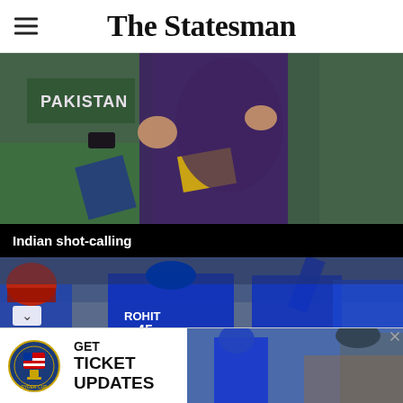The Statesman
[Figure (photo): Pakistan cricket players hugging players in purple jerseys after a match]
Indian shot-calling
[Figure (photo): Indian cricket team players including ROHIT 45 celebrating on field]
[Figure (other): Advertisement: Ryder Cup logo with text GET TICKET UPDATES, alongside an image of cricketers and a stadium]